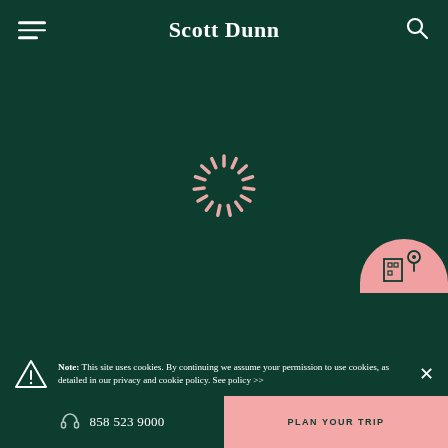Scott Dunn
[Figure (illustration): Loading spinner with pink radiating lines on dark green background]
[Figure (illustration): Pink semicircle with map pin and building icon in bottom right]
Note: This site uses cookies. By continuing we assume your permission to use cookies, as detailed in our privacy and cookie policy. See policy >>
858 523 9000
PLAN YOUR TRIP